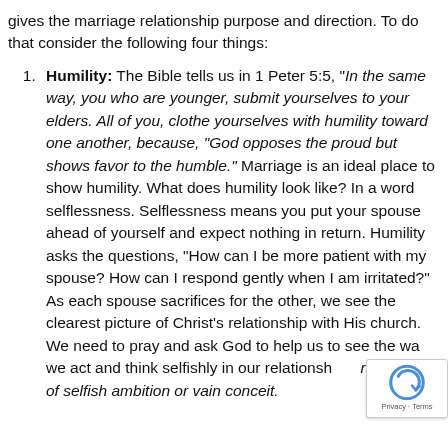gives the marriage relationship purpose and direction. To do that consider the following four things:
Humility: The Bible tells us in 1 Peter 5:5, "In the same way, you who are younger, submit yourselves to your elders. All of you, clothe yourselves with humility toward one another, because, "God opposes the proud but shows favor to the humble." Marriage is an ideal place to show humility. What does humility look like? In a word selflessness. Selflessness means you put your spouse ahead of yourself and expect nothing in return. Humility asks the questions, "How can I be more patient with my spouse? How can I respond gently when I am irritated?" As each spouse sacrifices for the other, we see the clearest picture of Christ's relationship with His church. We need to pray and ask God to help us to see the ways we act and think selfishly in our relationships. nothing out of selfish ambition or vain conceit.